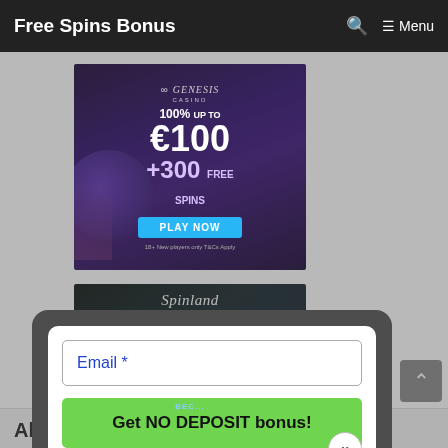Free Spins Bonus  🔍  ☰ Menu
[Figure (photo): Genesis Casino advertisement banner: 100% up to €100 + 300 Free Spins, PLAY NOW button, purple cosmic background]
[Figure (photo): Spinland casino advertisement: 200% WELCOME BONUS up to £3,000 +50 bonus spins on the first deposit, dark background]
Email *
Get NO DEPOSIT bonus!
Ab